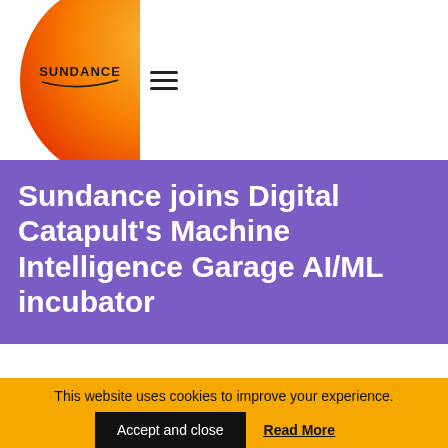[Figure (logo): Sundance logo: orange/yellow circular gradient arc with 'SUNDANCE' text in dark letters]
≡
Sundance joins Digital Catapult's Machine Intelligence Garage AI/ML incubator
This move will accelerate and deepen Sundance's Artificial Intelligence and Machine Learning knowledge and expertise.
It will also facilitate ongoing development on various
This website uses cookies to improve your experience.
Accept and close   Read More